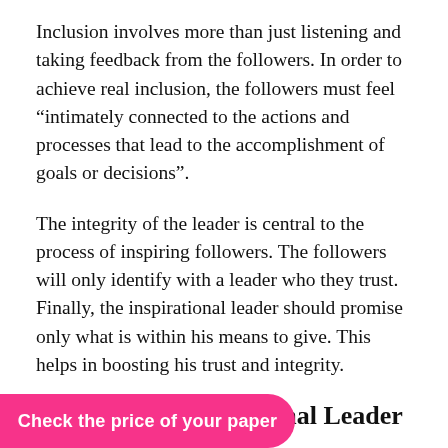Inclusion involves more than just listening and taking feedback from the followers. In order to achieve real inclusion, the followers must feel “intimately connected to the actions and processes that lead to the accomplishment of goals or decisions”.
The integrity of the leader is central to the process of inspiring followers. The followers will only identify with a leader who they trust. Finally, the inspirational leader should promise only what is within his means to give. This helps in boosting his trust and integrity.
Roles of the Inspirational Leader
The inspirational leader is considered a crusader who formulates an inspiring vision and creates strategic alignments to facilitate achievements of [leader should enable goals to those of
Check the price of your paper